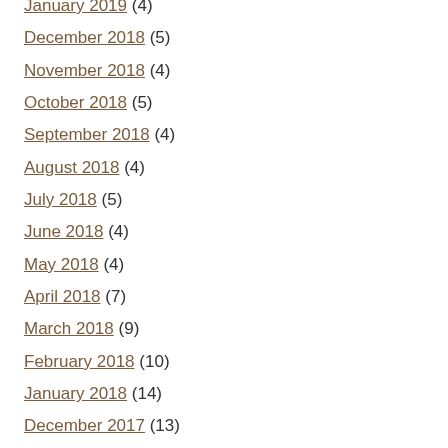January 2019 (4)
December 2018 (5)
November 2018 (4)
October 2018 (5)
September 2018 (4)
August 2018 (4)
July 2018 (5)
June 2018 (4)
May 2018 (4)
April 2018 (7)
March 2018 (9)
February 2018 (10)
January 2018 (14)
December 2017 (13)
November 2017 (13)
October 2017 (13)
September 2017 (13)
August 2017 (13)
July 2017 (13)